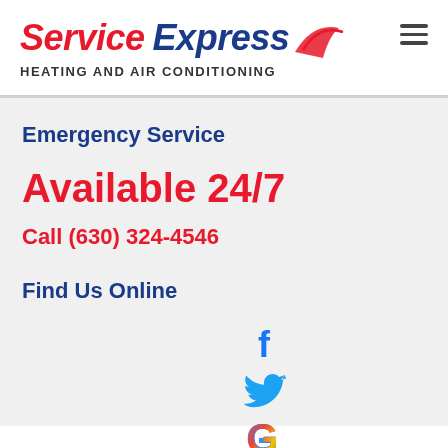[Figure (logo): Service Express Heating and Air Conditioning logo with red 'Service' text, blue 'Express' text, red swoosh graphic, and subtitle 'HEATING AND AIR CONDITIONING']
Emergency Service
Available 24/7
Call (630) 324-4546
Find Us Online
[Figure (illustration): Social media icons: Facebook (blue f), Twitter (blue bird), Google (multicolor G)]